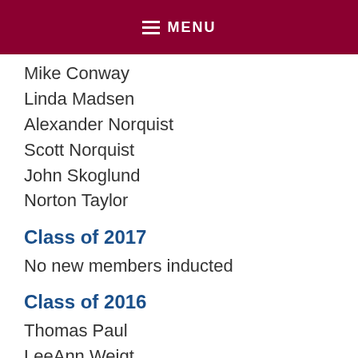MENU
Mike Conway
Linda Madsen
Alexander Norquist
Scott Norquist
John Skoglund
Norton Taylor
Class of 2017
No new members inducted
Class of 2016
Thomas Paul
LeeAnn Weigt
Class of 2015
No new members inducted